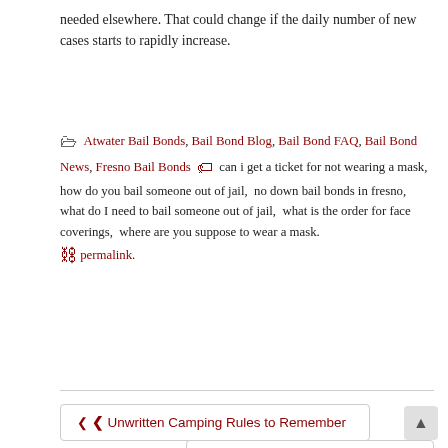needed elsewhere. That could change if the daily number of new cases starts to rapidly increase.
Atwater Bail Bonds, Bail Bond Blog, Bail Bond FAQ, Bail Bond News, Fresno Bail Bonds — can i get a ticket for not wearing a mask, how do you bail someone out of jail, no down bail bonds in fresno, what do I need to bail someone out of jail, what is the order for face coverings, where are you suppose to wear a mask. permalink.
← Unwritten Camping Rules to Remember
California's Regulations Regarding Car Seats →